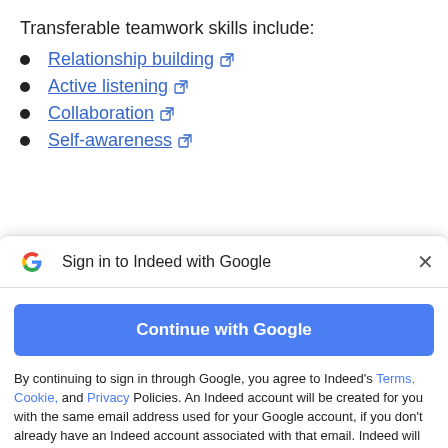Transferable teamwork skills include:
Relationship building [external link]
Active listening [external link]
Collaboration [external link]
Self-awareness [external link]
Sign in to Indeed with Google
Continue with Google
By continuing to sign in through Google, you agree to Indeed's Terms, Cookie, and Privacy Policies. An Indeed account will be created for you with the same email address used for your Google account, if you don't already have an Indeed account associated with that email. Indeed will send you marketing emails unless you object to these and you can unsubscribe at any time.